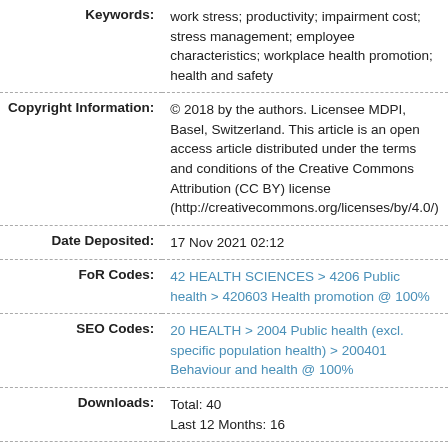| Field | Value |
| --- | --- |
| Keywords: | work stress; productivity; impairment cost; stress management; employee characteristics; workplace health promotion; health and safety |
| Copyright Information: | © 2018 by the authors. Licensee MDPI, Basel, Switzerland. This article is an open access article distributed under the terms and conditions of the Creative Commons Attribution (CC BY) license (http://creativecommons.org/licenses/by/4.0/) |
| Date Deposited: | 17 Nov 2021 02:12 |
| FoR Codes: | 42 HEALTH SCIENCES > 4206 Public health > 420603 Health promotion @ 100% |
| SEO Codes: | 20 HEALTH > 2004 Public health (excl. specific population health) > 200401 Behaviour and health @ 100% |
| Downloads: | Total: 40
Last 12 Months: 16 |
|  | More Statistics |